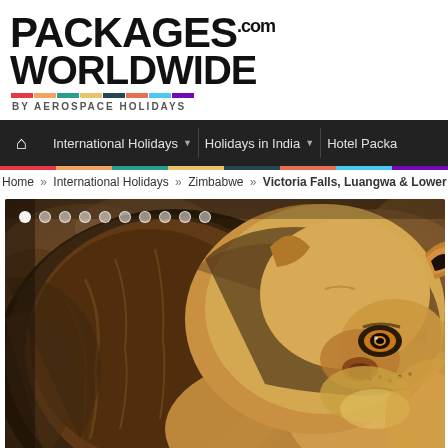[Figure (logo): PackagesWorldwide.com logo with colorful dot strip, by Aerospace Holidays]
International Holidays | Holidays in India | Hotel Packa...
Home » International Holidays » Zimbabwe » Victoria Falls, Luangwa & Lower Zan...
[Figure (photo): Close-up photograph of a lion with large mane, looking sideways, against a blurred rocky brown background. Slideshow navigation dots visible at top.]